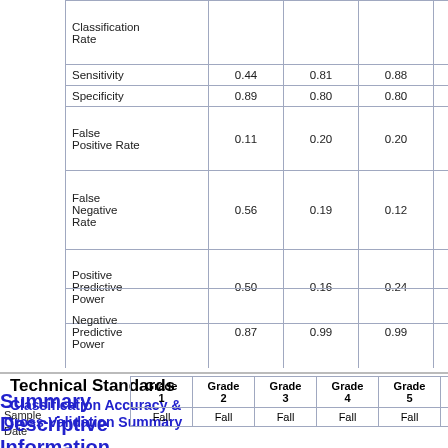|  | Grade 1 | Grade 2 | Grade 3 | Grade 4 | Grade 5 | Grade 6 |
| --- | --- | --- | --- | --- | --- | --- |
| Classification Rate |  |  |  |  |  |  |
| Sensitivity | 0.44 | 0.81 | 0.88 | 0.82 | 0.82 | 0.80 |
| Specificity | 0.89 | 0.80 | 0.80 | 0.84 | 0.83 | 0.80 |
| False Positive Rate | 0.11 | 0.20 | 0.20 | 0.16 | 0.17 | 0.20 |
| False Negative Rate | 0.56 | 0.19 | 0.12 | 0.18 | 0.18 | 0.20 |
| Positive Predictive Power | 0.50 | 0.16 | 0.24 | 0.29 | 0.26 | 0.12 |
| Negative Predictive Power | 0.87 | 0.99 | 0.99 | 0.98 | 0.98 | 0.99 |
Summary Descriptive Information
Administration Training & Scoring
Technical Standards
Classification Accuracy & Cross-Validation Summary
| Sample | Grade 1 | Grade 2 | Grade 3 | Grade 4 | Grade 5 | Grade 6 |
| --- | --- | --- | --- | --- | --- | --- |
| Date | Fall | Fall | Fall | Fall | Fall | Fall |